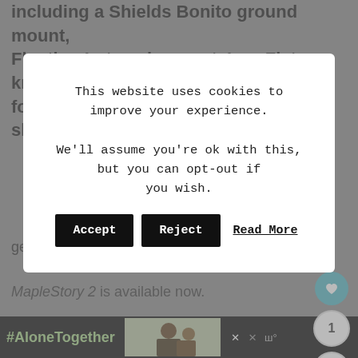including a Shields Bonito ground mount, Floating Lotus air mount, Iron Fist knuckles for the Striker and full Hysteria Outfit skin.
[Figure (screenshot): Advertisement banner: orange/red background with 'ANIMAL ADVICE 02' text and 'STAY HOME' large text with decorative graphic, with X close button]
This website uses cookies to improve your experience.

We'll assume you're ok with this, but you can opt-out if you wish.
gear.
MapleStory 2 is available now.
[Figure (screenshot): Bottom advertisement bar: black background with #AloneTogether in green text, photo of family, and X close buttons]